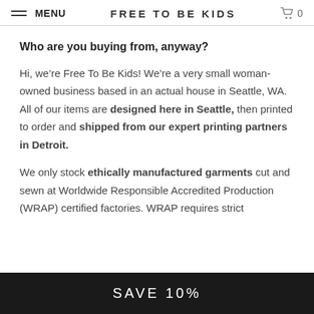MENU  FREE TO BE KIDS  🛒 0
Who are you buying from, anyway?
Hi, we're Free To Be Kids! We're a very small woman-owned business based in an actual house in Seattle, WA. All of our items are designed here in Seattle, then printed to order and shipped from our expert printing partners in Detroit.
We only stock ethically manufactured garments cut and sewn at Worldwide Responsible Accredited Production (WRAP) certified factories. WRAP requires strict
SAVE 10%